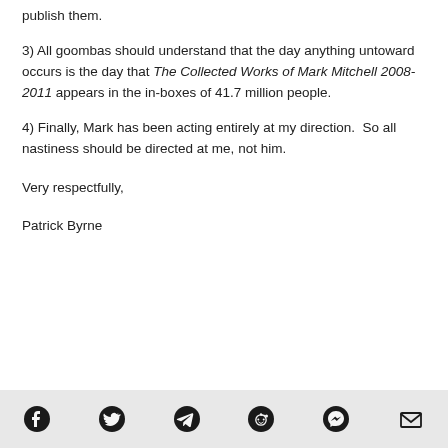publish them.
3) All goombas should understand that the day anything untoward occurs is the day that The Collected Works of Mark Mitchell 2008-2011 appears in the in-boxes of 41.7 million people.
4) Finally, Mark has been acting entirely at my direction.  So all nastiness should be directed at me, not him.
Very respectfully,
Patrick Byrne
Social share icons: Facebook, Twitter, Telegram, Reddit, Messenger, Email